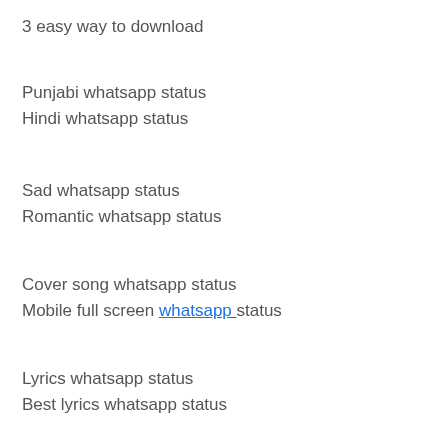3 easy way to download
Punjabi whatsapp status
Hindi whatsapp status
Sad whatsapp status
Romantic whatsapp status
Cover song whatsapp status
Mobile full screen whatsapp status
Lyrics whatsapp status
Best lyrics whatsapp status
Punjabi lyrics whatsapp status
Hindi lyrics whatsapp status